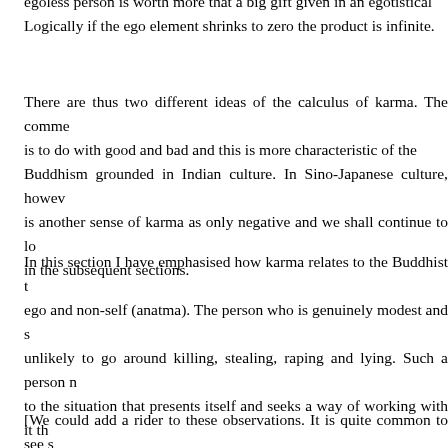egoless person is worth more that a big gift given in an egotistical manner. Logically if the ego element shrinks to zero the product is infinite.
There are thus two different ideas of the calculus of karma. The common one is to do with good and bad and this is more characteristic of the Buddhism grounded in Indian culture. In Sino-Japanese culture, however, there is another sense of karma as only negative and we shall continue to look at this in the subsequent sections.
In this section I have emphasised how karma relates to the Buddhist theme of ego and non-self (anatma). The person who is genuinely modest and selfless is unlikely to go around killing, stealing, raping and lying. Such a person responds to the situation that presents itself and seeks a way of working with it that brings out a general benefit. They do the best they can. They are not acting in order to make the right impression on others, but simply to bring about the best outcome irrespective of their own reputation. Such a person is generally not "keeping score". They are likely to be oblivious to the merit they are creating. In the universe of karma, they become invisible.
[We could add a rider to these observations. It is quite common to see situations where one person advances an argument or undertakes an activity...